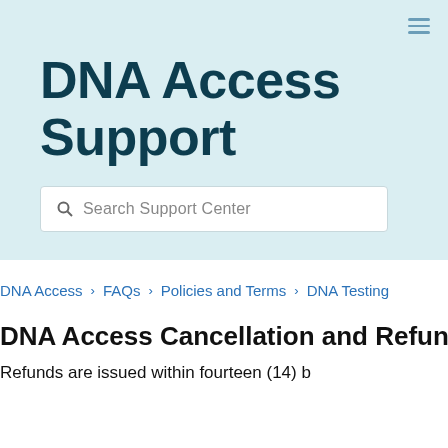DNA Access Support
Search Support Center
DNA Access › FAQs › Policies and Terms › DNA Testing
DNA Access Cancellation and Refund Polic
Refunds are issued within fourteen (14) b